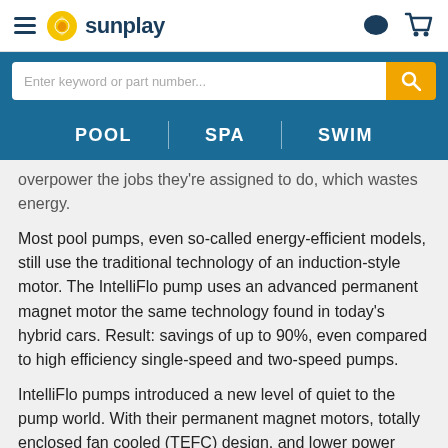sunplay
Enter keyword or part number...
POOL | SPA | SWIM
overpower the jobs they're assigned to do, which wastes energy.
Most pool pumps, even so-called energy-efficient models, still use the traditional technology of an induction-style motor. The IntelliFlo pump uses an advanced permanent magnet motor the same technology found in today's hybrid cars. Result: savings of up to 90%, even compared to high efficiency single-speed and two-speed pumps.
IntelliFlo pumps introduced a new level of quiet to the pump world. With their permanent magnet motors, totally enclosed fan cooled (TEFC) design, and lower power consumption...